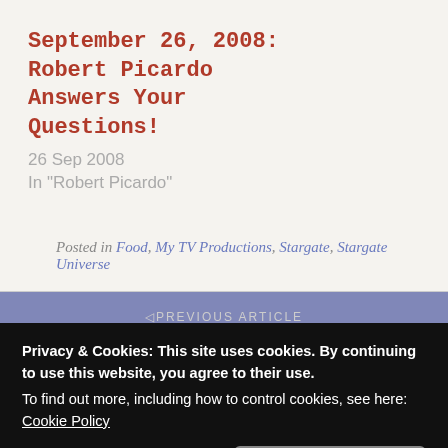September 26, 2008: Robert Picardo Answers Your Questions!
26 Sep 2008
In "Robert Picardo"
Posted in Food, My TV Productions, Stargate, Stargate Universe
◁ PREVIOUS ARTICLE
August 6, 2013: Lou Anders makes the leap! The Dark Knight
Privacy & Cookies: This site uses cookies. By continuing to use this website, you agree to their use.
To find out more, including how to control cookies, see here: Cookie Policy
Close and accept